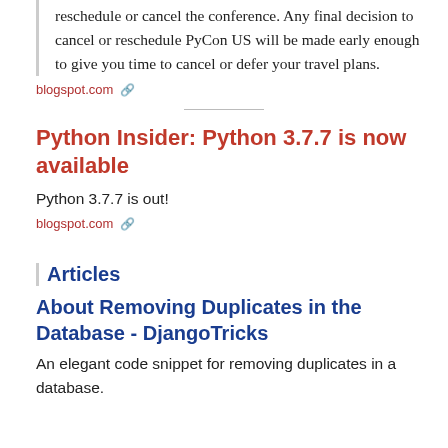reschedule or cancel the conference. Any final decision to cancel or reschedule PyCon US will be made early enough to give you time to cancel or defer your travel plans.
blogspot.com 🔗
Python Insider: Python 3.7.7 is now available
Python 3.7.7 is out!
blogspot.com 🔗
Articles
About Removing Duplicates in the Database - DjangoTricks
An elegant code snippet for removing duplicates in a database.